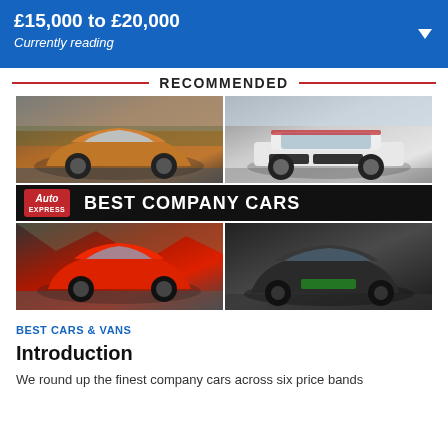£15,000 to £20,000
Currently reading
RECOMMENDED
[Figure (photo): Auto Express Best Company Cars collage: top-left orange Dacia Sandero Stepway, top-right white Kia Soul EV, bottom-left red Renault Clio, bottom-right black Ford Mustang Mach-E, with 'Auto Express BEST COMPANY CARS' banner across the middle.]
BEST CARS & VANS
Introduction
We round up the finest company cars across six price bands